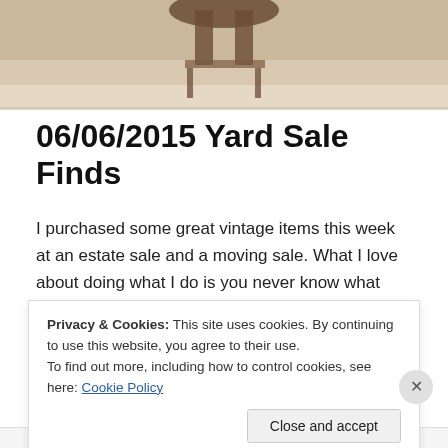[Figure (photo): Partial photo of a vintage chair or furniture item with beige/tan background, cropped at top]
06/06/2015 Yard Sale Finds
I purchased some great vintage items this week at an estate sale and a moving sale. What I love about doing what I do is you never know what you will find or where you will find it. It keeps things interesting and it's never boring.
These are really cool 1950's leather combat boots. Gotta
Privacy & Cookies: This site uses cookies. By continuing to use this website, you agree to their use.
To find out more, including how to control cookies, see here: Cookie Policy
Close and accept